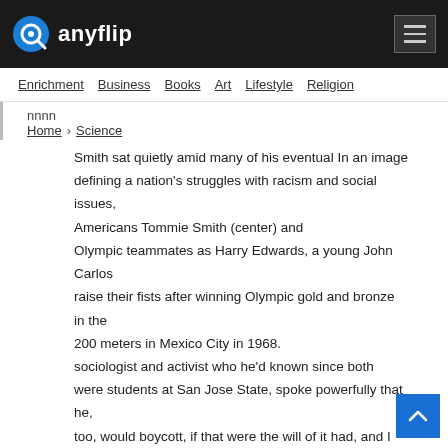anyflip
Enrichment  Business  Books  Art  Lifestyle  Religion
nnnn
Home › Science
Smith sat quietly amid many of his eventual In an image defining a nation's struggles with racism and social issues, Americans Tommie Smith (center) and
Olympic teammates as Harry Edwards, a young John Carlos raise their fists after winning Olympic gold and bronze in the 200 meters in Mexico City in 1968.
sociologist and activist who he'd known since both were students at San Jose State, spoke powerfully that he, too, would boycott, if that were the will of it had, and I wasn't part of it, I would have been
about a proposed Olympic boycott by black athletes in the upcoming Mexico City Games. the group. derelict in my duties to make the system grow in